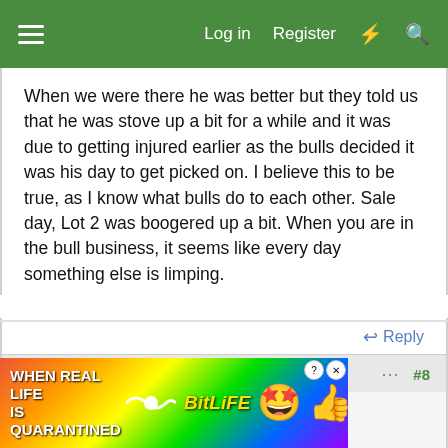Log in   Register   ⚡   🔍
When we were there he was better but they told us that he was stove up a bit for a while and it was due to getting injured earlier as the bulls decided it was his day to get picked on. I believe this to be true, as I know what bulls do to each other. Sale day, Lot 2 was boogered up a bit. When you are in the bull business, it seems like every day something else is limping.
↩ Reply
Mar 27, 2012   #8
leanin' H
Well-known member
[Figure (screenshot): Advertisement banner for BitLife game with rainbow background, emoji characters, and text 'WHEN REAL LIFE IS QUARANTINED']